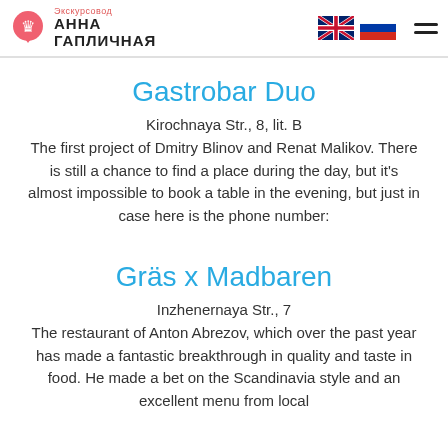АННА ГАПЛИЧНАЯ Экскурсовод
Gastrobar Duo
Kirochnaya Str., 8, lit. B
The first project of Dmitry Blinov and Renat Malikov. There is still a chance to find a place during the day, but it's almost impossible to book a table in the evening, but just in case here is the phone number:
Gräs x Madbaren
Inzhenernaya Str., 7
The restaurant of Anton Abrezov, which over the past year has made a fantastic breakthrough in quality and taste in food. He made a bet on the Scandinavia style and an excellent menu from local